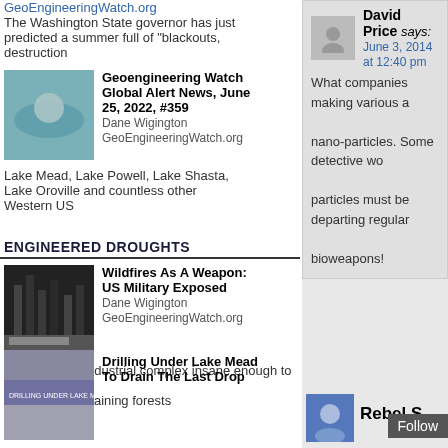GeoEngineeringWatch.org The Washington State governor has just predicted a summer full of "blackouts, destruction
[Figure (photo): Thumbnail image for Geoengineering Watch Global Alert News article]
Geoengineering Watch Global Alert News, June 25, 2022, #359
Dane Wigington GeoEngineeringWatch.org
Lake Mead, Lake Powell, Lake Shasta, Lake Oroville and countless other Western US
ENGINEERED DROUGHTS
[Figure (photo): Thumbnail image for Wildfires As A Weapon: US Military Exposed article]
Wildfires As A Weapon: US Military Exposed
Dane Wigington GeoEngineeringWatch.org
Is the military industrial complex insane enough to incinerate Earth's last remaining forests
[Figure (photo): Thumbnail image for Drilling Under Lake Mead To Drain The Last Drop article]
Drilling Under Lake Mead To Drain The Last Drop
David Price says:
June 3, 2014 at 12:40 pm
What companies making various a nano-particles. Some detective wo particles must be departing regular bioweapons!
David Price says:
June 3, 2014 at 12:35 pm
Yes, June 2 was again extensively free days was stark. The naive den white streaks eventually widen and